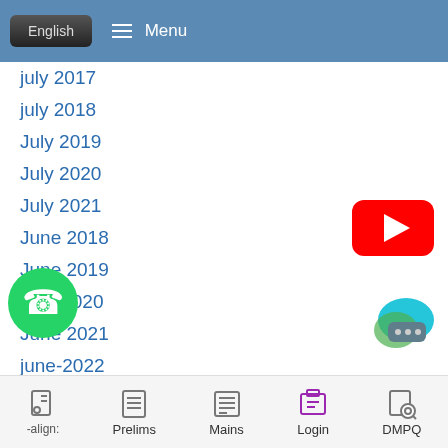English  Menu
july 2017
july 2018
July 2019
July 2020
July 2021
June 2018
June 2019
june 2020
June 2021
june-2022
june-2022
management
[Figure (logo): YouTube play button icon (red rectangle with white triangle)]
[Figure (logo): WhatsApp green phone icon]
[Figure (logo): Chat bubble icon with ellipsis]
-align:  Prelims  Mains  Login  DMPQ